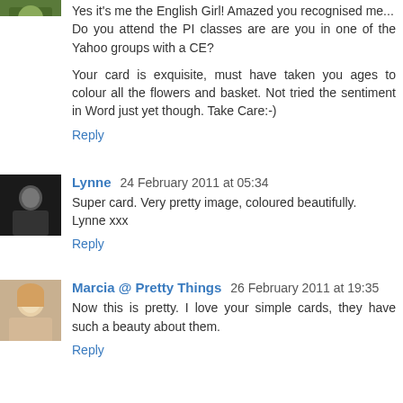Yes it's me the English Girl! Amazed you recognised me... Do you attend the PI classes are are you in one of the Yahoo groups with a CE?
Your card is exquisite, must have taken you ages to colour all the flowers and basket. Not tried the sentiment in Word just yet though. Take Care:-)
Reply
Lynne  24 February 2011 at 05:34
Super card. Very pretty image, coloured beautifully. Lynne xxx
Reply
Marcia @ Pretty Things  26 February 2011 at 19:35
Now this is pretty. I love your simple cards, they have such a beauty about them.
Reply